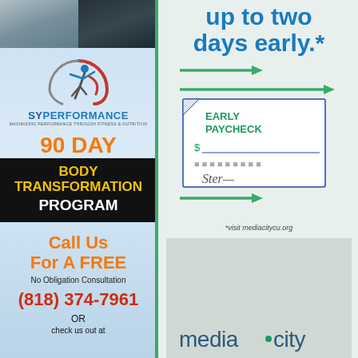[Figure (photo): Two people shown from shoulders up in casual/athletic wear - left person in gray, right person in dark navy clothing]
[Figure (logo): SYPerformance logo with stylized figure doing a fitness pose inside a circular swoosh design in blue and red/orange]
SYPERFORMANCE
MAXIMIZING PERFORMANCE THROUGH FITNESS & NUTRITION
90 DAY
BODY TRANSFORMATION PROGRAM
Call Us For A FREE
No Obligation Consultation
(818) 374-7961
OR
check us out at
up to two days early.*
[Figure (infographic): Green arrows pointing right and a stylized check/paycheck graphic with EARLY PAYCHECK label, dollar sign field, dotted routing number area, and a signature]
*visit mediacitycu.org
[Figure (logo): mediacity credit union logo with small dot/circle accent in teal color]